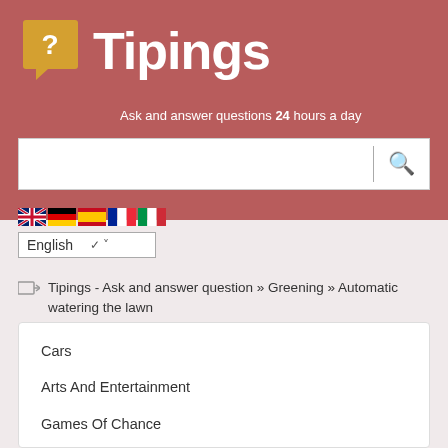Tipings
Ask and answer questions 24 hours a day
[Figure (screenshot): Search bar with magnifying glass icon]
[Figure (illustration): Flag icons for English, German, Spanish, French, Italian languages with English language dropdown selector]
Tipings - Ask and answer question » Greening » Automatic watering the lawn
Cars
Arts And Entertainment
Games Of Chance
Business
Email